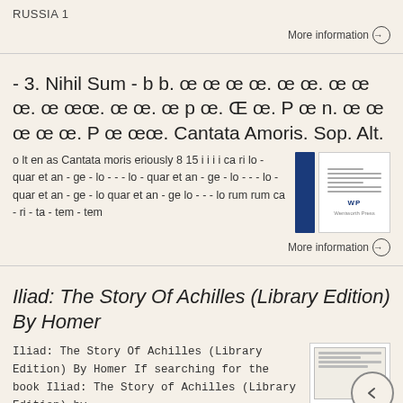RUSSIA 1
More information →
- 3. Nihil Sum - b b. œ œ œ œ. œ œ. œ œ œ. œ œœ. œ œ. œ p œ. Œ œ. P œ n. œ œ œ œ œ. P œ œœ. Cantata Amoris. Sop. Alt.
o lt en as Cantata moris eriously 8 15 i i i i ca ri lo - quar et an - ge - lo - - - lo - quar et an - ge - lo - - - lo - quar et an - ge - lo quar et an - ge lo - - - lo rum rum ca - ri - ta - tem - tem
More information →
Iliad: The Story Of Achilles (Library Edition) By Homer
Iliad: The Story Of Achilles (Library Edition) By Homer If searching for the book Iliad: The Story of Achilles (Library Edition) by